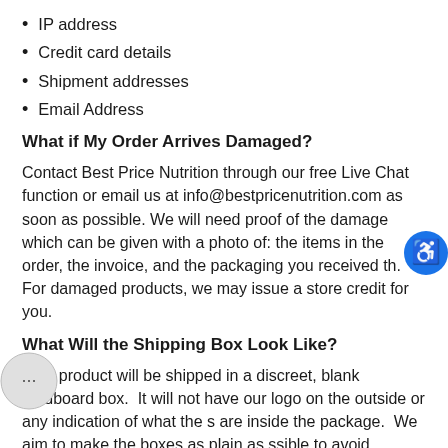IP address
Credit card details
Shipment addresses
Email Address
What if My Order Arrives Damaged?
Contact Best Price Nutrition through our free Live Chat function or email us at info@bestpricenutrition.com as soon as possible. We will need proof of the damage which can be given with a photo of: the items in the order, the invoice, and the packaging you received this. For damaged products, we may issue a store credit for you.
What Will the Shipping Box Look Like?
Your product will be shipped in a discreet, blank cardboard box.  It will not have our logo on the outside or any indication of what the s are inside the package.  We aim to make the boxes as plain as ssible to avoid customs opening the package up and assessing tax or duty.